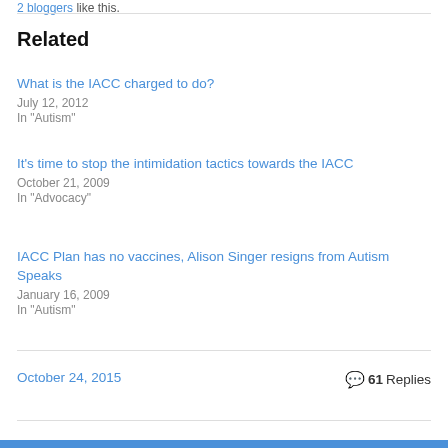2 bloggers like this.
Related
What is the IACC charged to do?
July 12, 2012
In "Autism"
It's time to stop the intimidation tactics towards the IACC
October 21, 2009
In "Advocacy"
IACC Plan has no vaccines, Alison Singer resigns from Autism Speaks
January 16, 2009
In "Autism"
October 24, 2015
💬 61 Replies